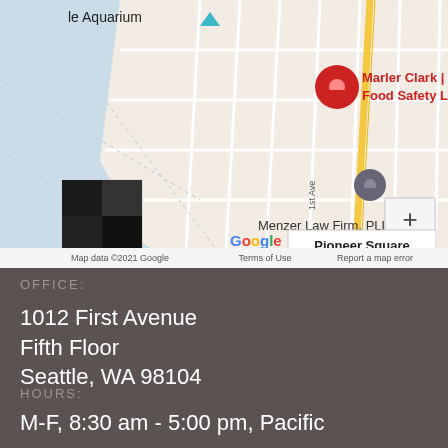[Figure (map): Google Maps screenshot showing Pioneer Square, Seattle. A red pin marks Marler Clark | The Food Safety Law Firm. A grey pin marks Menzer Law Firm, PLLC. The map shows the waterfront area near Seattle Aquarium, Pioneer Square neighborhood, 1st Ave, and zoom controls. Map data ©2021 Google. Bottom right shows 'Pioneer Square' callout. Footer reads: Map data ©2021 Google  Terms of Use  Report a map error]
OFFICE:
1012 First Avenue
Fifth Floor
Seattle, WA 98104
HOURS:
M-F, 8:30 am - 5:00 pm, Pacific